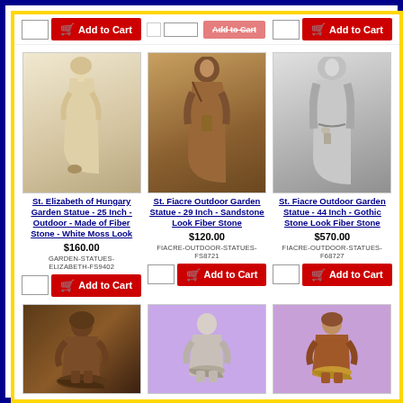[Figure (screenshot): Top partial row showing Add to Cart buttons for items above the fold]
[Figure (photo): St. Elizabeth of Hungary Garden Statue - 25 Inch - cream/beige colored standing figure]
St. Elizabeth of Hungary Garden Statue - 25 Inch - Outdoor - Made of Fiber Stone - White Moss Look
$160.00
GARDEN-STATUES-ELIZABETH-FS9402
[Figure (photo): St. Fiacre Outdoor Garden Statue - 29 Inch - brown sandstone colored robed figure]
St. Fiacre Outdoor Garden Statue - 29 Inch - Sandstone Look Fiber Stone
$120.00
FIACRE-OUTDOOR-STATUES-FS8721
[Figure (photo): St. Fiacre Outdoor Garden Statue - 44 Inch - grey gothic stone look robed figure]
St. Fiacre Outdoor Garden Statue - 44 Inch - Gothic Stone Look Fiber Stone
$570.00
FIACRE-OUTDOOR-STATUES-F68727
[Figure (photo): Bottom row left: bronze colored seated saint figure with bowl]
[Figure (photo): Bottom row middle: light grey/white seated saint figure on purple background]
[Figure (photo): Bottom row right: brown/red colored seated saint figure with bowl on purple background]